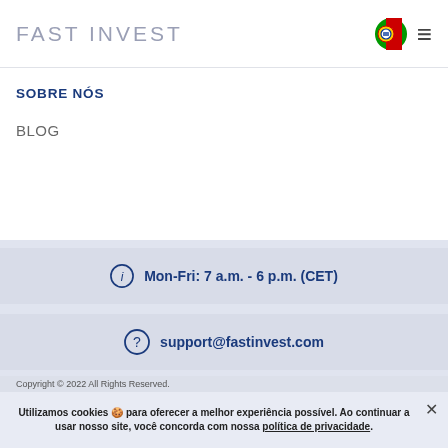FAST INVEST
SOBRE NÓS
BLOG
Mon-Fri: 7 a.m. - 6 p.m. (CET)
support@fastinvest.com
Copyright © 2022 All Rights Reserved.
Utilizamos cookies 🍪 para oferecer a melhor experiência possível. Ao continuar a usar nosso site, você concorda com nossa política de privacidade.